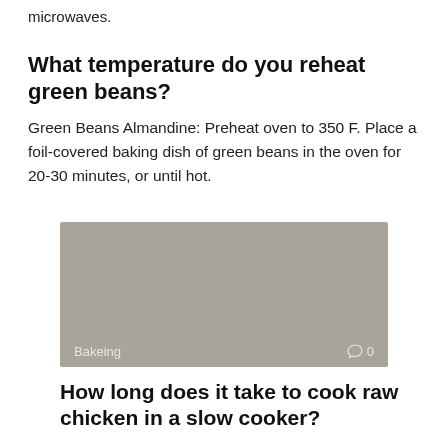microwaves.
What temperature do you reheat green beans?
Green Beans Almandine: Preheat oven to 350 F. Place a foil-covered baking dish of green beans in the oven for 20-30 minutes, or until hot.
[Figure (photo): Gray placeholder image with 'Bakeing' label and comment count '0' at the bottom]
How long does it take to cook raw chicken in a slow cooker?